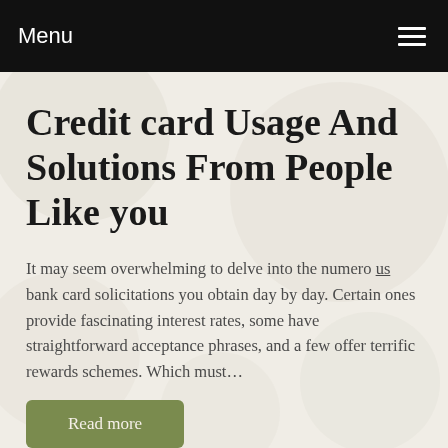Menu
Credit card Usage And Solutions From People Like you
It may seem overwhelming to delve into the numero us bank card solicitations you obtain day by day. Certain ones provide fascinating interest rates, some have straightforward acceptance phrases, and a few offer terrific rewards schemes. Which must…
Read more